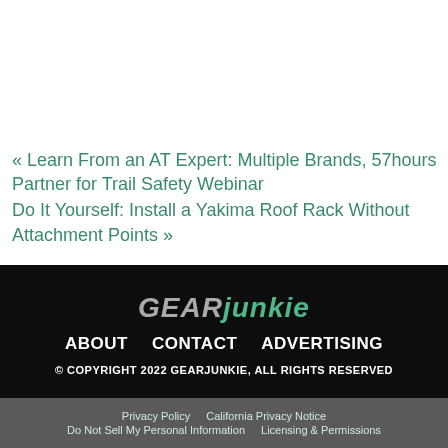« Learn From an AT Expert: Multiple Brands, 57hours Partner for Trail Safety Webinar
Do It Yourself: Install a Yakima Roof Rack Without Attachment Points »
[Figure (logo): GearJunkie logo in stylized italic text, GEAR in grey and JUNKIE in green]
ABOUT   CONTACT   ADVERTISING
© COPYRIGHT 2022 GEARJUNKIE, ALL RIGHTS RESERVED
Privacy Policy | California Privacy Notice | Do Not Sell My Personal Information | Licensing & Permissions